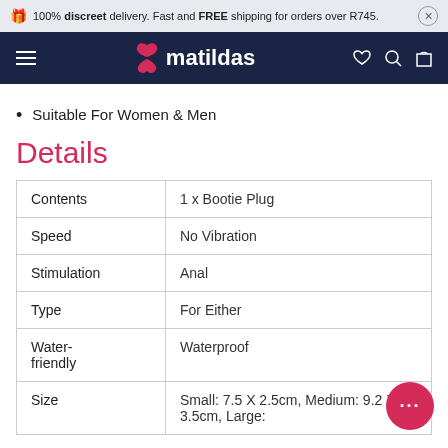100% discreet delivery. Fast and FREE shipping for orders over R745.
[Figure (logo): Matildas logo with infinity/heart icon on dark navy navigation bar]
Suitable For Women & Men
Details
|  |  |
| --- | --- |
| Contents | 1 x Bootie Plug |
| Speed | No Vibration |
| Stimulation | Anal |
| Type | For Either |
| Water-friendly | Waterproof |
| Size | Small: 7.5 X 2.5cm, Medium: 9.2 X 3.5cm, Large: |